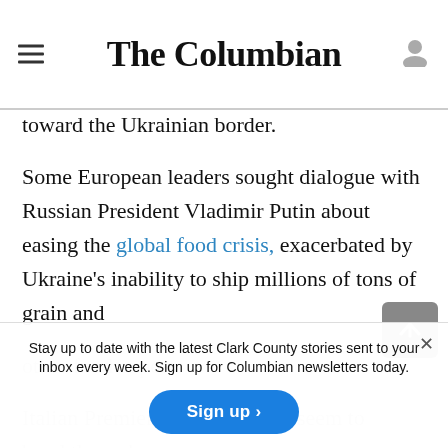The Columbian
Russia as a staging ground before the invasion — announced Friday that it was sending troops toward the Ukrainian border.
Some European leaders sought dialogue with Russian President Vladimir Putin about easing the global food crisis, exacerbated by Ukraine's inability to ship millions of tons of grain and other food exports.
Stay up to date with the latest Clark County stories sent to your inbox every week. Sign up for Columbian newsletters today.
Italian Premier Ma... and there seem to be breakthrough...